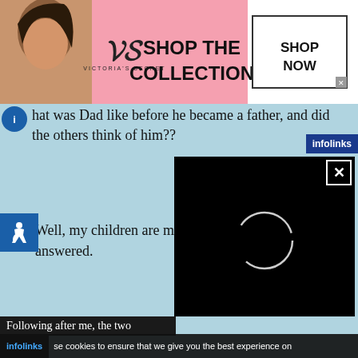[Figure (screenshot): Victoria's Secret advertisement banner with model photo, VS logo, 'SHOP THE COLLECTION' text, and 'SHOP NOW' button]
hat was Dad like before he became a father, and did the others think of him??
[Figure (screenshot): Infolinks advertisement badge in blue]
[Figure (screenshot): Accessibility icon (wheelchair symbol) in blue square]
Well, my children are my answered.
[Figure (screenshot): Video player overlay showing black screen with loading spinner circle and close button]
Following after me, the two
se cookies to ensure that we give you the best experience on
[Figure (screenshot): ShoeMall Shoes advertisement with shoe image, title, description, URL and arrow button]